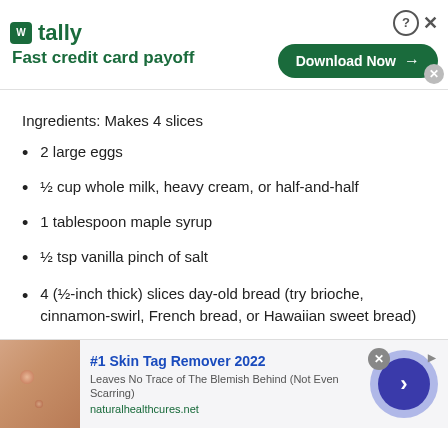[Figure (other): Tally app advertisement banner with logo, 'Fast credit card payoff' tagline, and 'Download Now' button]
Ingredients: Makes 4 slices
2 large eggs
½ cup whole milk, heavy cream, or half-and-half
1 tablespoon maple syrup
½ tsp vanilla pinch of salt
4 (½-inch thick) slices day-old bread (try brioche, cinnamon-swirl, French bread, or Hawaiian sweet bread)
[Figure (other): Advertisement for '#1 Skin Tag Remover 2022' with skin photo, text 'Leaves No Trace of The Blemish Behind (Not Even Scarring)', URL naturalhealthcures.net, and a blue arrow button]